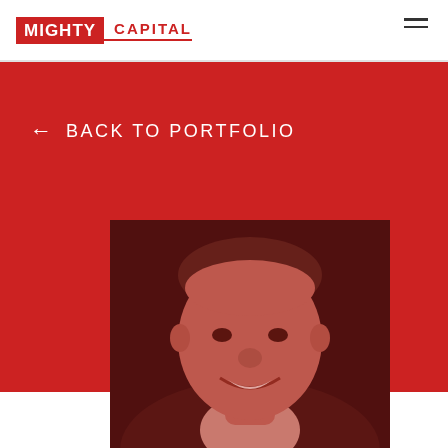MIGHTY CAPITAL
← BACK TO PORTFOLIO
[Figure (photo): Black and white portrait photo of a smiling man in a suit, with reddish duotone overlay, positioned in the lower portion of the red banner section.]